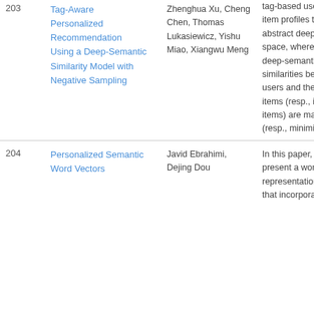| # | Title | Authors | Abstract |
| --- | --- | --- | --- |
| 203 | Tag-Aware Personalized Recommendation Using a Deep-Semantic Similarity Model with Negative Sampling | Zhenghua Xu, Cheng Chen, Thomas Lukasiewicz, Yishu Miao, Xiangwu Meng | tag-based user and item profiles to an abstract deep feature space, where the deep-semantic similarities between users and their target items (resp., irrelevant items) are maximized (resp., minimized). |
| 204 | Personalized Semantic Word Vectors | Javid Ebrahimi, Dejing Dou | In this paper, we present a word representation scheme that incorporates |